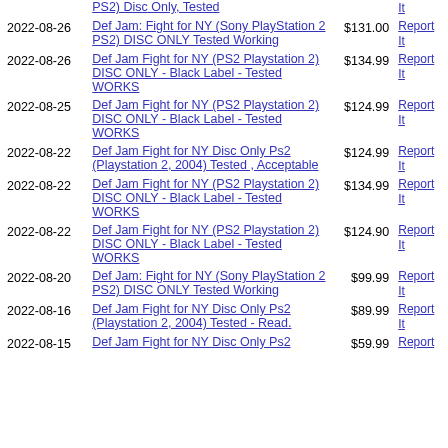| Date | Title | Price | Action |
| --- | --- | --- | --- |
|  | PS2) Disc Only, Tested |  | It |
| 2022-08-26 | Def Jam: Fight for NY (Sony PlayStation 2 PS2) DISC ONLY Tested Working | $131.00 | Report It |
| 2022-08-26 | Def Jam Fight for NY (PS2 Playstation 2) DISC ONLY - Black Label - Tested WORKS | $134.99 | Report It |
| 2022-08-25 | Def Jam Fight for NY (PS2 Playstation 2) DISC ONLY - Black Label - Tested WORKS | $124.99 | Report It |
| 2022-08-22 | Def Jam Fight for NY Disc Only Ps2 (Playstation 2, 2004) Tested , Acceptable | $124.99 | Report It |
| 2022-08-22 | Def Jam Fight for NY (PS2 Playstation 2) DISC ONLY - Black Label - Tested WORKS | $134.99 | Report It |
| 2022-08-22 | Def Jam Fight for NY (PS2 Playstation 2) DISC ONLY - Black Label - Tested WORKS | $124.90 | Report It |
| 2022-08-20 | Def Jam: Fight for NY (Sony PlayStation 2 PS2) DISC ONLY Tested Working | $99.99 | Report It |
| 2022-08-16 | Def Jam Fight for NY Disc Only Ps2 (Playstation 2, 2004) Tested - Read. | $89.99 | Report It |
| 2022-08-15 | Def Jam Fight for NY Disc Only Ps2 | $59.99 | Report |